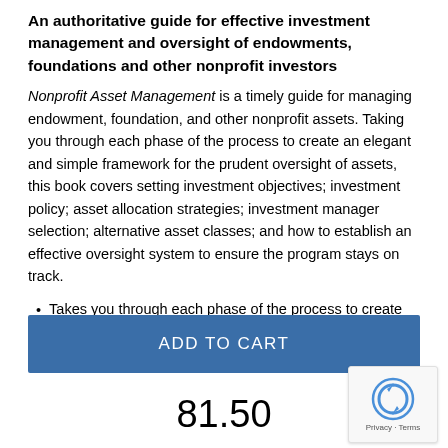An authoritative guide for effective investment management and oversight of endowments, foundations and other nonprofit investors
Nonprofit Asset Management is a timely guide for managing endowment, foundation, and other nonprofit assets. Taking you through each phase of the process to create an elegant and simple framework for the prudent oversight of assets, this book covers setting investment objectives; investment policy; asset allocation strategies; investment manager selection; alternative asset classes; and how to establish an effective oversight system to ensure the program stays on track.
Takes you through each phase of the process to create an elegant and simple framework for the prudent oversight
ADD TO CART
81.50